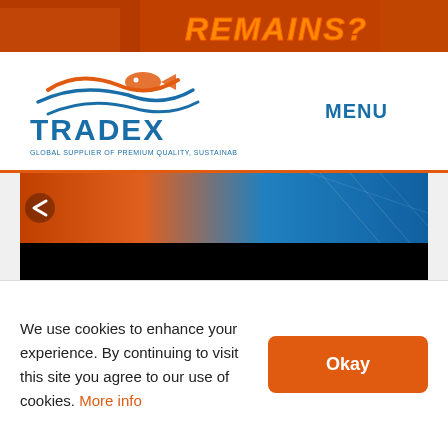[Figure (photo): Top orange banner with text REMAINS? and a fisherman in orange gear]
[Figure (logo): Tradex logo with fish/wave graphic and text GLOBAL SUPPLIER OF PREMIUM QUALITY, SUSTAINABLE SEAFOOD]
MENU
[Figure (photo): Hero banner image with orange and blue tones, left arrow navigation, black text bar below]
[Figure (infographic): Pagination dots — one filled gray circle followed by many unfilled circles arranged in a grid]
We use cookies to enhance your experience. By continuing to visit this site you agree to our use of cookies. More info